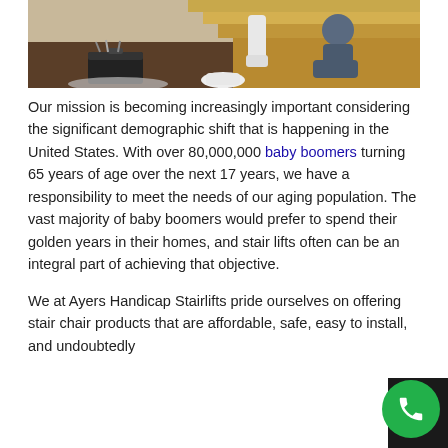[Figure (photo): A technician kneeling on a wooden floor next to a staircase, working on a stairlift installation. An open toolbox is visible on the floor.]
Our mission is becoming increasingly important considering the significant demographic shift that is happening in the United States. With over 80,000,000 baby boomers turning 65 years of age over the next 17 years, we have a responsibility to meet the needs of our aging population. The vast majority of baby boomers would prefer to spend their golden years in their homes, and stair lifts often can be an integral part of achieving that objective.
We at Ayers Handicap Stairlifts pride ourselves on offering stair chair products that are affordable, safe, easy to install, and undoubtedly